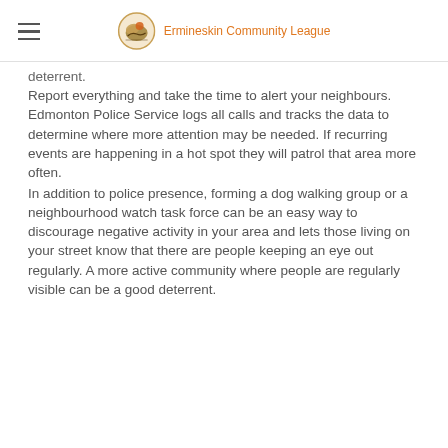Ermineskin Community League
deterrent.
Report everything and take the time to alert your neighbours. Edmonton Police Service logs all calls and tracks the data to determine where more attention may be needed. If recurring events are happening in a hot spot they will patrol that area more often.
In addition to police presence, forming a dog walking group or a neighbourhood watch task force can be an easy way to discourage negative activity in your area and lets those living on your street know that there are people keeping an eye out regularly. A more active community where people are regularly visible can be a good deterrent.